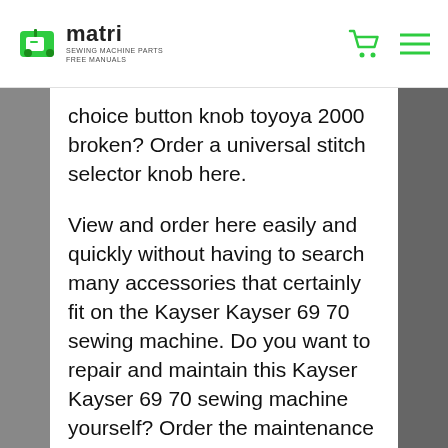matri — SEWING MACHINE PARTS FREE MANUALS
choice button knob toyoya 2000 broken? Order a universal stitch selector knob here.
View and order here easily and quickly without having to search many accessories that certainly fit on the Kayser Kayser 69 70 sewing machine. Do you want to repair and maintain this Kayser Kayser 69 70 sewing machine yourself? Order the maintenance package especially for this Kayser sewing machine and simply give your sewing machine a self-service. Even the most common problems and complaints of the Kayser (model) sewing machine can often be solved yourself with our free sewing machine maintenance and repair